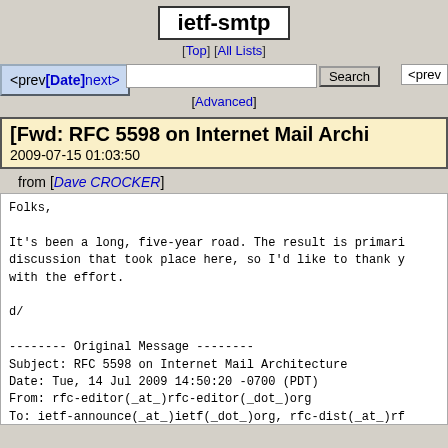ietf-smtp
[Top] [All Lists]
[Advanced]
<prev [Date] next>
<prev
[Fwd: RFC 5598 on Internet Mail Archi...
2009-07-15 01:03:50
from [Dave CROCKER]
Folks,

It's been a long, five-year road. The result is primari... discussion that took place here, so I'd like to thank y... with the effort.

d/

-------- Original Message --------
Subject: RFC 5598 on Internet Mail Architecture
Date: Tue, 14 Jul 2009 14:50:20 -0700 (PDT)
From: rfc-editor(_at_)rfc-editor(_dot_)org
To: ietf-announce(_at_)ietf(_dot_)org, rfc-dist(_at_)rf...
CC: rfc-editor(_at_)rfc-editor(_dot_)org